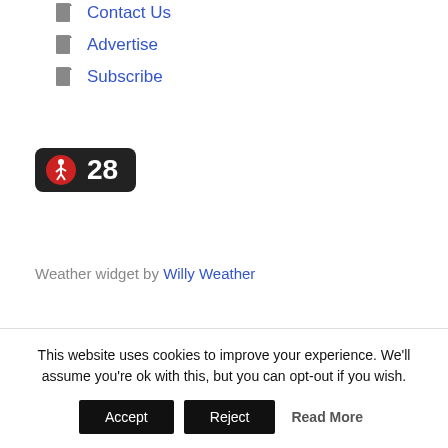Contact Us
Advertise
Subscribe
[Figure (infographic): Weather widget showing a walking person icon on a red circle background and the number 28, all on a dark rounded rectangle button]
Weather widget by Willy Weather
This website uses cookies to improve your experience. We'll assume you're ok with this, but you can opt-out if you wish.